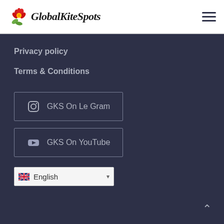[Figure (logo): GlobalKiteSpots logo with red flower and italic script text]
Privacy policy
Terms & Conditions
GKS On Le Gram
GKS On YouTube
English